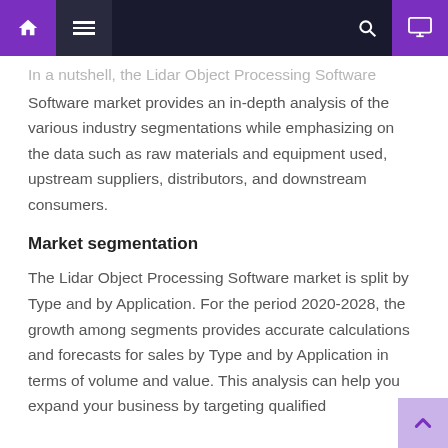[Navigation bar with home, menu, search, and monitor icons]
In a nutshell, the Lidar Object Processing Software market provides an in-depth analysis of the various industry segmentations while emphasizing on the data such as raw materials and equipment used, upstream suppliers, distributors, and downstream consumers.
Market segmentation
The Lidar Object Processing Software market is split by Type and by Application. For the period 2020-2028, the growth among segments provides accurate calculations and forecasts for sales by Type and by Application in terms of volume and value. This analysis can help you expand your business by targeting qualified